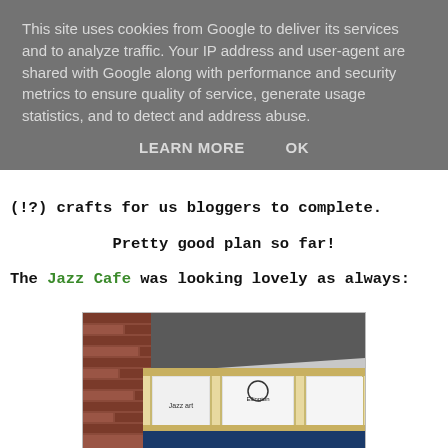This site uses cookies from Google to deliver its services and to analyze traffic. Your IP address and user-agent are shared with Google along with performance and security metrics to ensure quality of service, generate usage statistics, and to detect and address abuse.
LEARN MORE   OK
(!?) crafts for us bloggers to complete.
Pretty good plan so far!
The Jazz Cafe was looking lovely as always:
[Figure (photo): Exterior of the Jazz Cafe building, a cream/yellow painted corner building with large windows displaying jazz-themed artwork, and brick wall visible at top left, with a dark blue fascia at the bottom.]